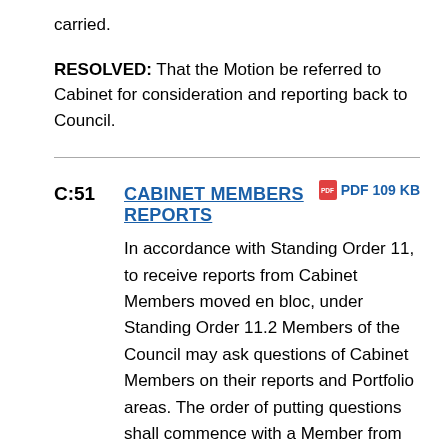carried.
RESOLVED:  That the Motion be referred to Cabinet for consideration and reporting back to Council.
C:51  CABINET MEMBERS REPORTS  PDF 109 KB
In accordance with Standing Order 11, to receive reports from Cabinet Members moved en bloc, under Standing Order 11.2 Members of the Council may ask questions of Cabinet Members on their reports and Portfolio areas. The order of putting questions shall commence with a Member from the largest opposition group, proceeding in descending order to the smallest opposition group,